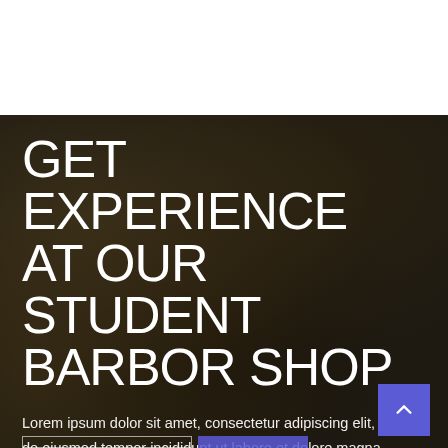[Figure (photo): Dark blurry barbershop background photo with wooden elements and bokeh lighting]
GET EXPERIENCE AT OUR STUDENT BARBOR SHOP
Lorem ipsum dolor sit amet, consectetur adipiscing elit, sed do eiusmod tempor incididunt ut labore et dolore magna aliqua. Ut enim ad minim veniam, quis nostrud exercitation ullamco magna aliqua minim.